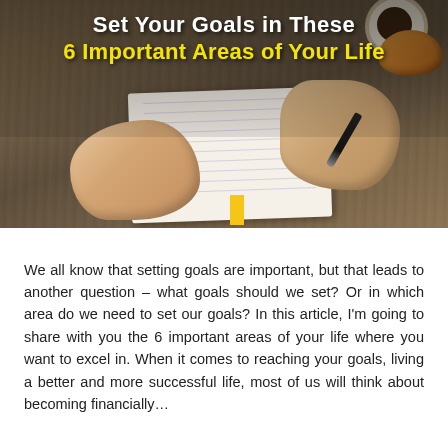[Figure (photo): A person writing in a notebook on a wooden desk, with a coffee cup and croissant in the background. Bold white text reads 'Set Your Goals in These' and yellow bold text reads '6 Important Areas of Your Life'.]
We all know that setting goals are important, but that leads to another question – what goals should we set? Or in which area do we need to set our goals? In this article, I'm going to share with you the 6 important areas of your life where you want to excel in. When it comes to reaching your goals, living a better and more successful life, most of us will think about becoming financially…